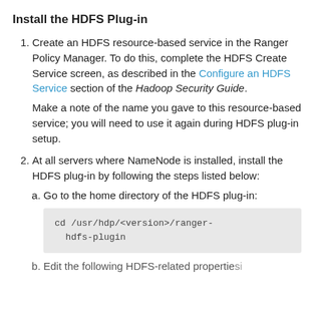Install the HDFS Plug-in
Create an HDFS resource-based service in the Ranger Policy Manager. To do this, complete the HDFS Create Service screen, as described in the Configure an HDFS Service section of the Hadoop Security Guide.
Make a note of the name you gave to this resource-based service; you will need to use it again during HDFS plug-in setup.
At all servers where NameNode is installed, install the HDFS plug-in by following the steps listed below:
a. Go to the home directory of the HDFS plug-in:
cd /usr/hdp/<version>/ranger-hdfs-plugin
b. Edit the following HDFS-related properties in...